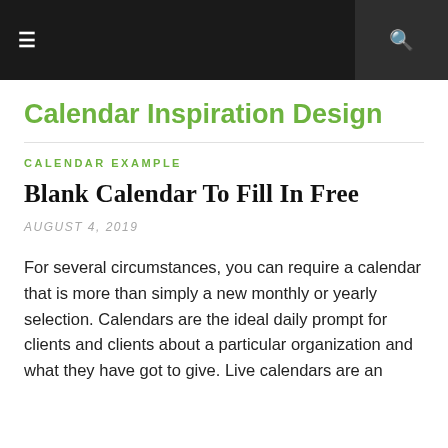≡ [hamburger menu] [search icon]
Calendar Inspiration Design
CALENDAR EXAMPLE
Blank Calendar To Fill In Free
AUGUST 4, 2019
For several circumstances, you can require a calendar that is more than simply a new monthly or yearly selection. Calendars are the ideal daily prompt for clients and clients about a particular organization and what they have got to give. Live calendars are an